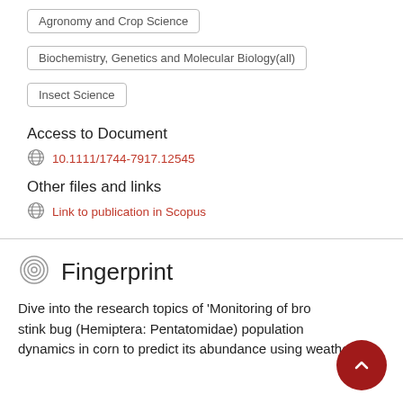Agronomy and Crop Science
Biochemistry, Genetics and Molecular Biology(all)
Insect Science
Access to Document
10.1111/1744-7917.12545
Other files and links
Link to publication in Scopus
Fingerprint
Dive into the research topics of 'Monitoring of bro stink bug (Hemiptera: Pentatomidae) population dynamics in corn to predict its abundance using weather